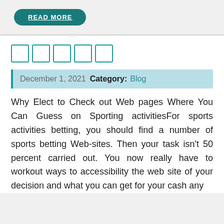[Figure (other): READ MORE button — teal rounded pill button with underlined white bold text]
[Figure (other): Five empty square outline boxes arranged in a row, rendered in teal color, resembling a star/rating placeholder]
December 1, 2021  Category: Blog
Why Elect to Check out Web pages Where You Can Guess on Sporting activitiesFor sports activities betting, you should find a number of sports betting Web-sites. Then your task isn't 50 percent carried out. You now really have to workout ways to accessibility the web site of your decision and what you can get for your cash any